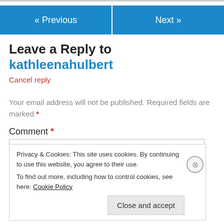« Previous   Next »
Leave a Reply to kathleenahulbert
Cancel reply
Your email address will not be published. Required fields are marked *
Comment *
Privacy & Cookies: This site uses cookies. By continuing to use this website, you agree to their use. To find out more, including how to control cookies, see here: Cookie Policy
Close and accept